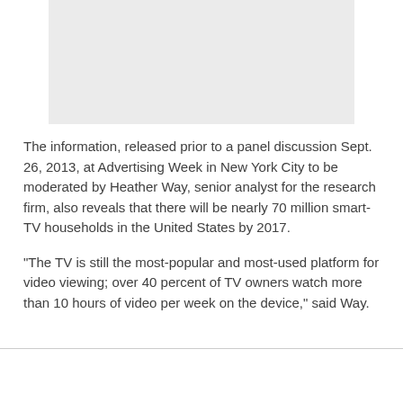[Figure (other): Gray placeholder image box at the top of the page]
The information, released prior to a panel discussion Sept. 26, 2013, at Advertising Week in New York City to be moderated by Heather Way, senior analyst for the research firm, also reveals that there will be nearly 70 million smart-TV households in the United States by 2017.
"The TV is still the most-popular and most-used platform for video viewing; over 40 percent of TV owners watch more than 10 hours of video per week on the device," said Way.